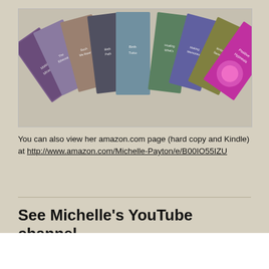[Figure (photo): A fan-spread arrangement of multiple book covers by Michelle Payton, including titles related to healing, writing, sensory, and hypnosis, displayed against a beige/tan background.]
You can also view her amazon.com page (hard copy and Kindle) at http://www.amazon.com/Michelle-Payton/e/B00IO55IZU
See Michelle's YouTube channel
at https://www.youtube.com/user/MichellePayton
Michelle Payton
Copyright © 2022 All Rights Reserved